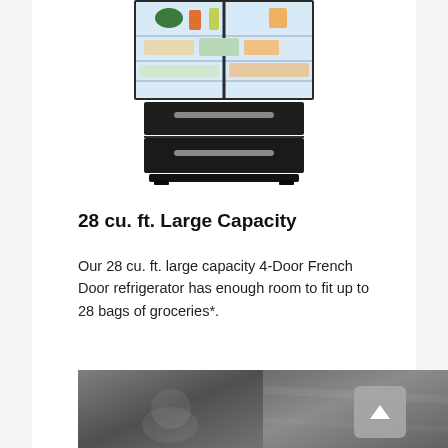[Figure (photo): Black stainless steel 4-Door French Door refrigerator shown open at top with food inside, and two bottom freezer drawers with silver handles]
28 cu. ft. Large Capacity
Our 28 cu. ft. large capacity 4-Door French Door refrigerator has enough room to fit up to 28 bags of groceries*.
[Figure (photo): Two close-up photos of black stainless steel surface texture side by side]